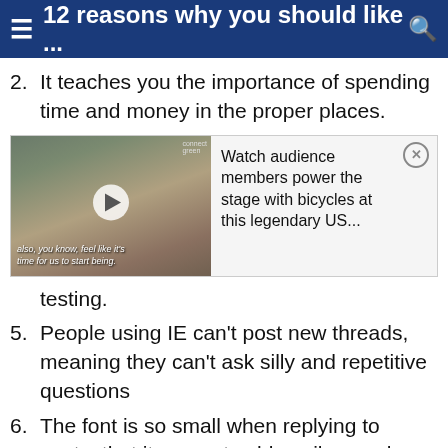≡ 12 reasons why you should like ... 🔍
2. It teaches you the importance of spending time and money in the proper places.
[Figure (screenshot): Video thumbnail showing a woman in a hat at an outdoor event, with overlay text 'also, you know, feel like it's time for us to start being.' and a play button. Beside it: 'Watch audience members power the stage with bicycles at this legendary US...' with a close (x) button.]
testing.
5. People using IE can't post new threads, meaning they can't ask silly and repetitive questions
6. The font is so small when replying to posts, that it prevents old senile people from ever seeing what they've typed.
7. It brings back childhood memories of an easter egg